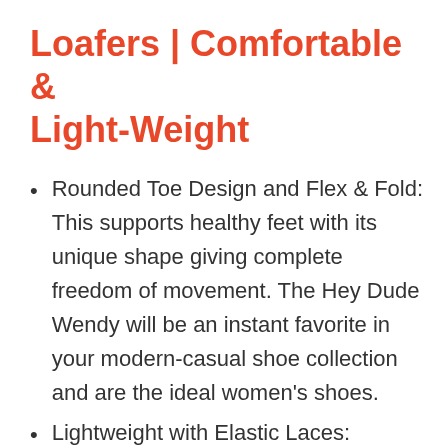Loafers | Comfortable & Light-Weight
Rounded Toe Design and Flex & Fold: This supports healthy feet with its unique shape giving complete freedom of movement. The Hey Dude Wendy will be an instant favorite in your modern-casual shoe collection and are the ideal women’s shoes.
Lightweight with Elastic Laces: Manufactured using an elastic material that allows them to flex with